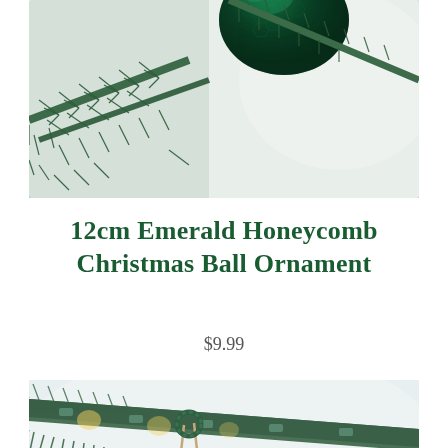[Figure (photo): Close-up photograph of a dark emerald green honeycomb-textured Christmas ball ornament hanging on a pine Christmas tree branch, with a light background]
12cm Emerald Honeycomb Christmas Ball Ornament
$9.99
[Figure (photo): Close-up photograph of pine tree branches with Christmas lights and a decorative wreath tied with twine, showing green needles and warm bokeh lights]